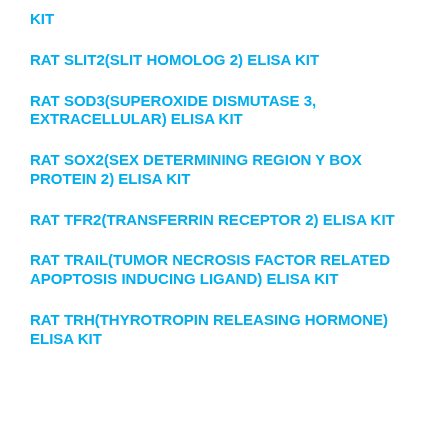KIT
RAT SLIT2(SLIT HOMOLOG 2) ELISA KIT
RAT SOD3(SUPEROXIDE DISMUTASE 3, EXTRACELLULAR) ELISA KIT
RAT SOX2(SEX DETERMINING REGION Y BOX PROTEIN 2) ELISA KIT
RAT TFR2(TRANSFERRIN RECEPTOR 2) ELISA KIT
RAT TRAIL(TUMOR NECROSIS FACTOR RELATED APOPTOSIS INDUCING LIGAND) ELISA KIT
RAT TRH(THYROTROPIN RELEASING HORMONE) ELISA KIT